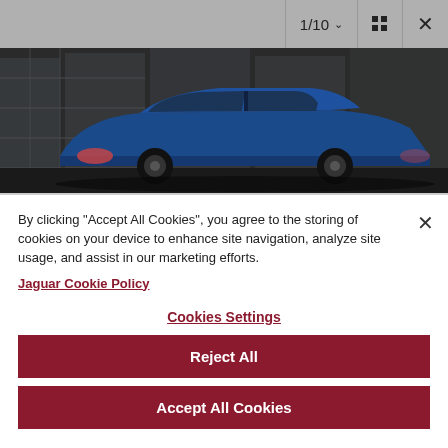1/10
[Figure (photo): Blue Jaguar sedan car parked in front of a modern glass building at dusk, side profile view]
By clicking "Accept All Cookies", you agree to the storing of cookies on your device to enhance site navigation, analyze site usage, and assist in our marketing efforts.
Jaguar Cookie Policy
Cookies Settings
Reject All
Accept All Cookies